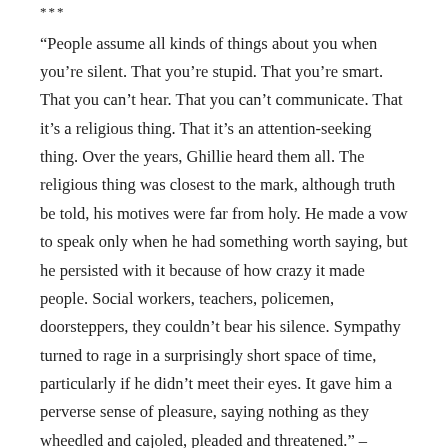***
“People assume all kinds of things about you when you’re silent. That you’re stupid. That you’re smart. That you can’t hear. That you can’t communicate. That it’s a religious thing. That it’s an attention-seeking thing. Over the years, Ghillie heard them all. The religious thing was closest to the mark, although truth be told, his motives were far from holy. He made a vow to speak only when he had something worth saying, but he persisted with it because of how crazy it made people. Social workers, teachers, policemen, doorsteppers, they couldn’t bear his silence. Sympathy turned to rage in a surprisingly short space of time, particularly if he didn’t meet their eyes. It gave him a perverse sense of pleasure, saying nothing as they wheedled and cajoled, pleaded and threatened.” – Lynda Clark’s ‘Ghillie’s Mum’